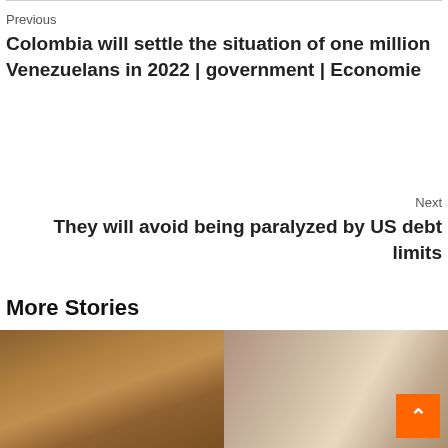Previous
Colombia will settle the situation of one million Venezuelans in 2022 | government | Economie
Next
They will avoid being paralyzed by US debt limits
More Stories
[Figure (photo): Photo of rocky/dirt landscape texture]
[Figure (photo): Photo of a blonde woman]